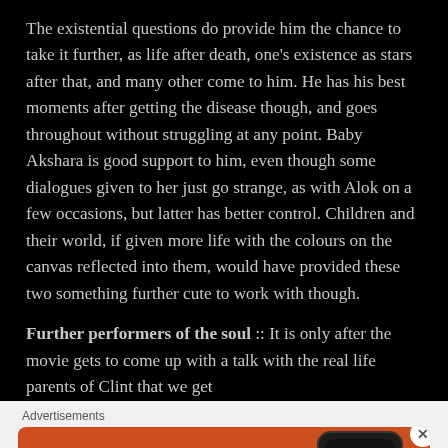The existential questions do provide him the chance to take it further, as life after death, one's existence as stars after that, and many other come to him. He has his best moments after getting the disease though, and goes throughout without struggling at any point. Baby Akshara is good support to him, even though some dialogues given to her just go strange, as with Alok on a few occasions, but latter has better control. Children and their world, if given more life with the colours on the canvas reflected into them, would have provided these two something further cute to work with though.
Further performers of the soul :: It is only after the movie gets to come up with a talk with the real life parents of Clint that we get
Advertisements
[Figure (infographic): DuckDuckGo advertisement banner with orange background. Left side shows bold white text: 'Search, browse, and email with more privacy.' with a white button 'All in One Free App'. Right side shows a smartphone mockup with the DuckDuckGo duck logo and 'DuckDuckGo.' text below.]